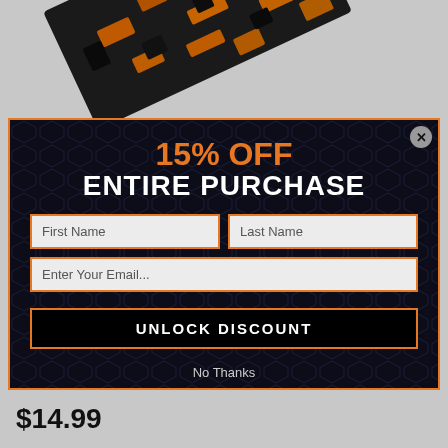[Figure (illustration): Diagonal camouflage strap with orange and black pattern on gray background]
15% OFF
ENTIRE PURCHASE
First Name
Last Name
Enter Your Email...
UNLOCK DISCOUNT
No Thanks
$14.99